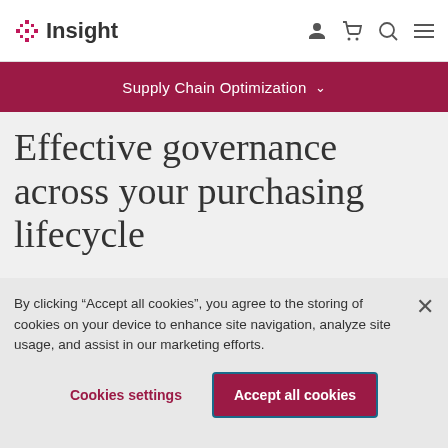Insight — Supply Chain Optimization
Effective governance across your purchasing lifecycle
By clicking “Accept all cookies”, you agree to the storing of cookies on your device to enhance site navigation, analyze site usage, and assist in our marketing efforts.
Cookies settings | Accept all cookies